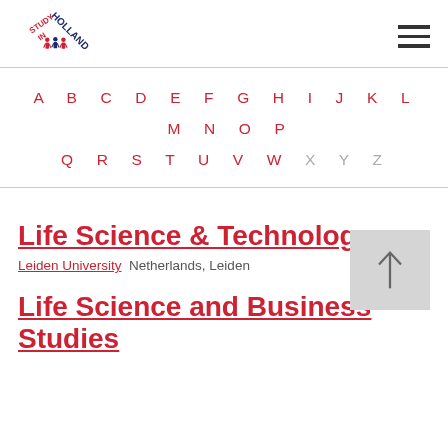Study in Holland — navigation header with logo and hamburger menu
A B C D E F G H I J K L M N O P Q R S T U V W X Y Z
Life Science & Technology
Leiden University  Netherlands, Leiden
Life Science and Business Studies